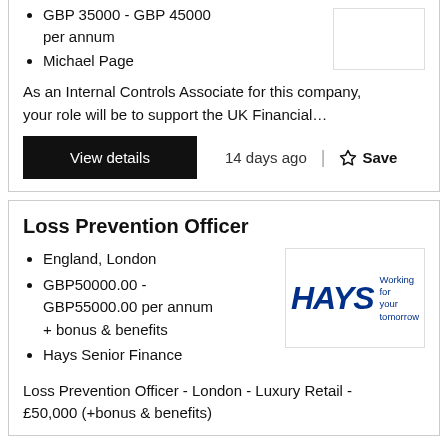GBP 35000 - GBP 45000 per annum
Michael Page
As an Internal Controls Associate for this company, your role will be to support the UK Financial...
View details | 14 days ago | Save
Loss Prevention Officer
England, London
GBP50000.00 - GBP55000.00 per annum + bonus & benefits
Hays Senior Finance
[Figure (logo): Hays - Working for your tomorrow logo]
Loss Prevention Officer - London - Luxury Retail - £50,000 (+bonus & benefits)